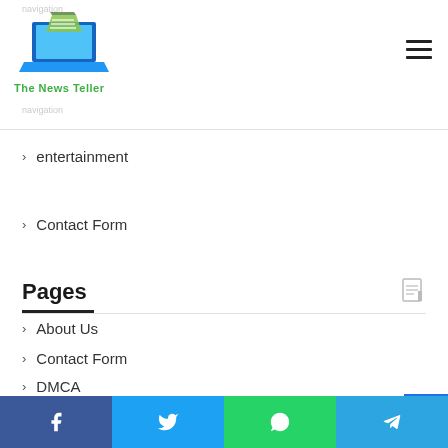The News Teller
entertainment
Contact Form
Pages
About Us
Contact Form
DMCA
Editorial Policy
Facebook Twitter WhatsApp Telegram